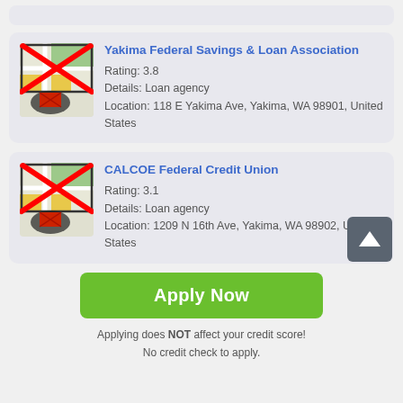[Figure (screenshot): Partial top card stub]
Yakima Federal Savings & Loan Association
Rating: 3.8
Details: Loan agency
Location: 118 E Yakima Ave, Yakima, WA 98901, United States
CALCOE Federal Credit Union
Rating: 3.1
Details: Loan agency
Location: 1209 N 16th Ave, Yakima, WA 98902, United States
Apply Now
Applying does NOT affect your credit score! No credit check to apply.